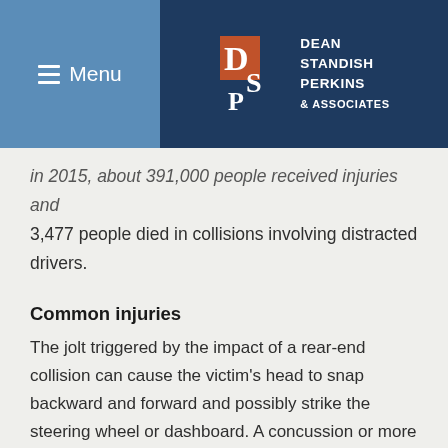Menu | Dean Standish Perkins & Associates
In 2015, about 391,000 people received injuries and 3,477 people died in collisions involving distracted drivers.
Common injuries
The jolt triggered by the impact of a rear-end collision can cause the victim’s head to snap backward and forward and possibly strike the steering wheel or dashboard. A concussion or more serious head injury can result. Whiplash, spinal fracture and disc herniation are also common injuries, even when the collision seems minor. Any of these injuries could require long-term care and rehabilitation.